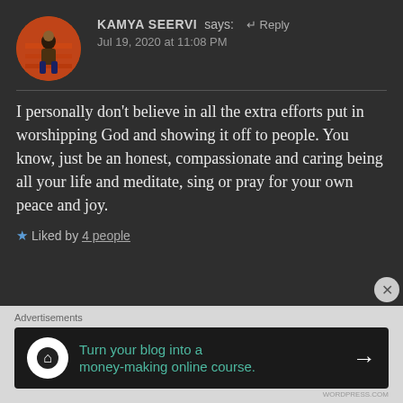KAMYA SEERVI says:  ↵ Reply
Jul 19, 2020 at 11:08 PM
I personally don't believe in all the extra efforts put in worshipping God and showing it off to people. You know, just be an honest, compassionate and caring being all your life and meditate, sing or pray for your own peace and joy.
★ Liked by 4 people
Advertisements
Turn your blog into a money-making online course. →